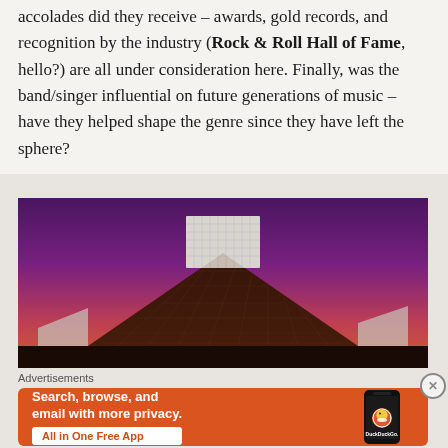accolades did they receive – awards, gold records, and recognition by the industry (Rock & Roll Hall of Fame, hello?) are all under consideration here. Finally, was the band/singer influential on future generations of music – have they helped shape the genre since they have left the sphere?
[Figure (photo): Exterior photo of the Rock & Roll Hall of Fame building at dusk/night. A dark pyramid-shaped glass structure with a white rectangular tower above it, set against a purple-magenta gradient sky.]
Advertisements
[Figure (screenshot): DuckDuckGo advertisement banner on orange background. Text reads: 'Search, browse, and email with more privacy. All in One Free App' with a phone mockup showing the DuckDuckGo logo and app name.]